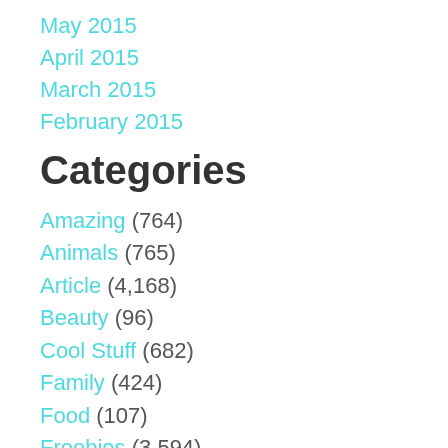May 2015
April 2015
March 2015
February 2015
Categories
Amazing (764)
Animals (765)
Article (4,168)
Beauty (96)
Cool Stuff (682)
Family (424)
Food (107)
Freebies (3,594)
Funny (1,078)
Health (37)
Household (165)